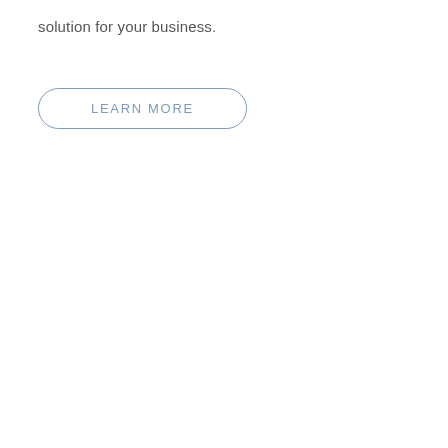solution for your business.
LEARN MORE